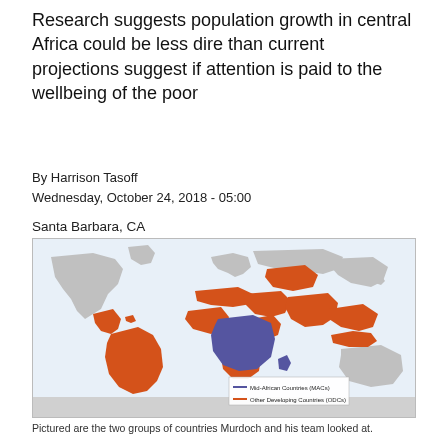Research suggests population growth in central Africa could be less dire than current projections suggest if attention is paid to the wellbeing of the poor
By Harrison Tasoff
Wednesday, October 24, 2018 - 05:00
Santa Barbara, CA
[Figure (map): World map showing two groups of countries highlighted: Mid-African Countries (MACs) shown in blue/purple covering central Africa, and Other Developing Countries (ODCs) shown in orange covering parts of Latin America, Middle East, South/Southeast Asia, and sub-Saharan Africa outside the MAC region. Other regions are shown in gray.]
Pictured are the two groups of countries Murdoch and his team looked at.